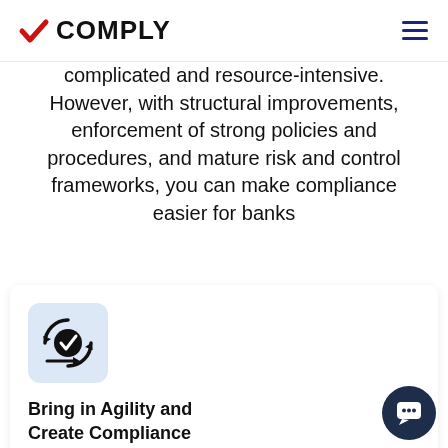VCOMPLY
complicated and resource-intensive. However, with structural improvements, enforcement of strong policies and procedures, and mature risk and control frameworks, you can make compliance easier for banks
[Figure (illustration): Circular arrows with a checkmark icon inside, representing compliance cycle/agility, on a light blue rounded square background]
Bring in Agility and Create Compliance System